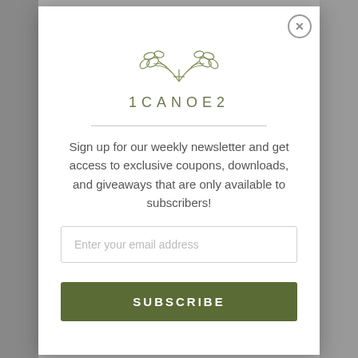[Figure (logo): 1Canoe2 brand logo with botanical leaf illustration above the brand name '1CANOE2']
Sign up for our weekly newsletter and get access to exclusive coupons, downloads, and giveaways that are only available to subscribers!
Enter your email address
SUBSCRIBE